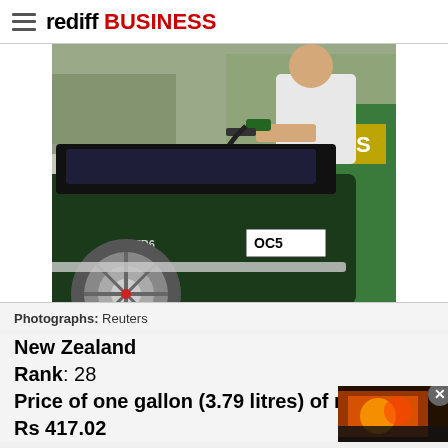rediff BUSINESS
[Figure (photo): Photo of a dark green classic car (Triumph TR6) at a petrol station being refueled, with a person in a white t-shirt holding a fuel nozzle. The car's rear is visible showing 'TR6' badge and 'OC5' partial license plate.]
Photographs: Reuters
New Zealand
Rank: 28
Price of one gallon (3.79 litres) of regular gaso
Rs 417.02